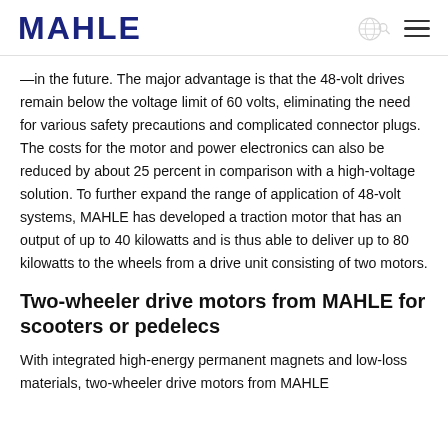MAHLE
—in the future. The major advantage is that the 48-volt drives remain below the voltage limit of 60 volts, eliminating the need for various safety precautions and complicated connector plugs. The costs for the motor and power electronics can also be reduced by about 25 percent in comparison with a high-voltage solution. To further expand the range of application of 48-volt systems, MAHLE has developed a traction motor that has an output of up to 40 kilowatts and is thus able to deliver up to 80 kilowatts to the wheels from a drive unit consisting of two motors.
Two-wheeler drive motors from MAHLE for scooters or pedelecs
With integrated high-energy permanent magnets and low-loss materials, two-wheeler drive motors from MAHLE